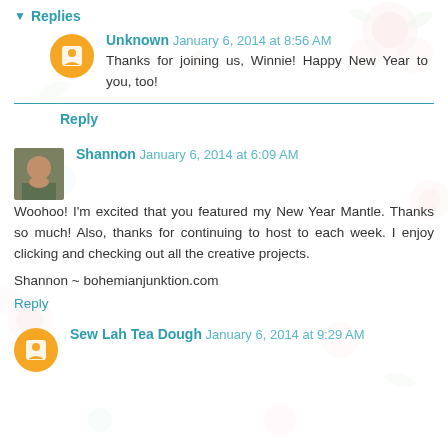▾ Replies
Unknown  January 6, 2014 at 8:56 AM
Thanks for joining us, Winnie! Happy New Year to you, too!
Reply
Shannon  January 6, 2014 at 6:09 AM
Woohoo! I'm excited that you featured my New Year Mantle. Thanks so much! Also, thanks for continuing to host to each week. I enjoy clicking and checking out all the creative projects.

Shannon ~ bohemianjunktion.com
Reply
Sew Lah Tea Dough  January 6, 2014 at 9:29 AM